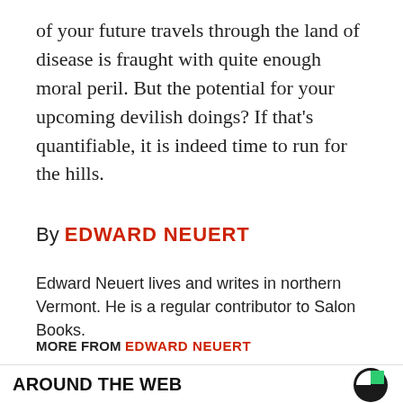of your future travels through the land of disease is fraught with quite enough moral peril. But the potential for your upcoming devilish doings? If that's quantifiable, it is indeed time to run for the hills.
By EDWARD NEUERT
Edward Neuert lives and writes in northern Vermont. He is a regular contributor to Salon Books.
MORE FROM EDWARD NEUERT
AROUND THE WEB
[Figure (photo): Bottom portion of page showing a lightbulb photograph in grayscale/sepia tones]